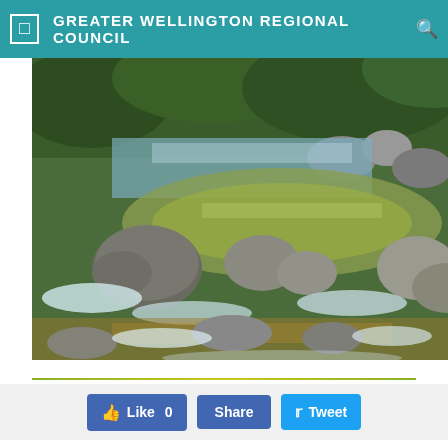GREATER WELLINGTON REGIONAL COUNCIL
[Figure (photo): A rocky stream or river with flowing water over stones and boulders, surrounded by lush green vegetation. The water appears shallow in some areas and deeper in others, with white rapids visible around rocks.]
Like 0   Share   Tweet